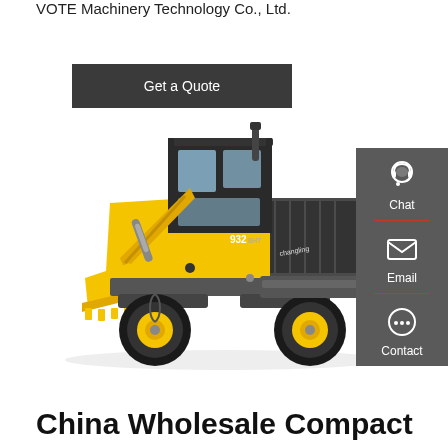VOTE Machinery Technology Co., Ltd.
Get a Quote
[Figure (photo): Yellow Changling 932 compact wheel loader / front loader machine on white background, showing front bucket, cab, and large black tires]
Chat
Email
Contact
China Wholesale Compact